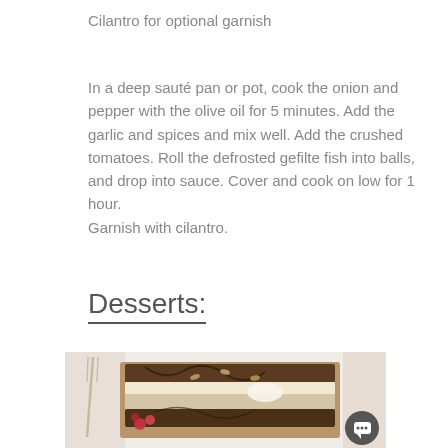Cilantro for optional garnish
In a deep sauté pan or pot, cook the onion and pepper with the olive oil for 5 minutes. Add the garlic and spices and mix well. Add the crushed tomatoes. Roll the defrosted gefilte fish into balls, and drop into sauce. Cover and cook on low for 1 hour.
Garnish with cilantro.
Desserts:
[Figure (photo): A dessert dish, appearing to be a layered cake or trifle with chocolate, cream, and berries, served on a plate with a fork visible. A dark circular chat button with a speech bubble icon is overlaid in the bottom-right corner.]